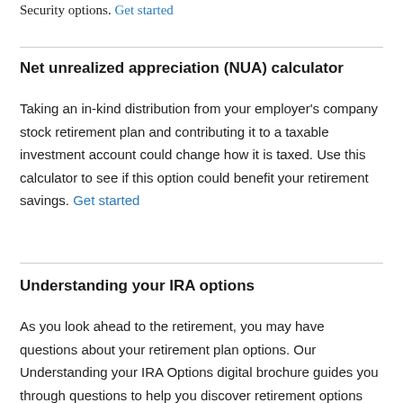Security options. Get started
Net unrealized appreciation (NUA) calculator
Taking an in-kind distribution from your employer's company stock retirement plan and contributing it to a taxable investment account could change how it is taxed. Use this calculator to see if this option could benefit your retirement savings. Get started
Understanding your IRA options
As you look ahead to the retirement, you may have questions about your retirement plan options. Our Understanding your IRA Options digital brochure guides you through questions to help you discover retirement options based